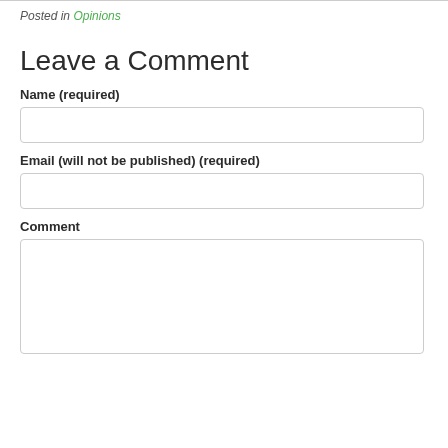Posted in Opinions
Leave a Comment
Name (required)
Email (will not be published) (required)
Comment